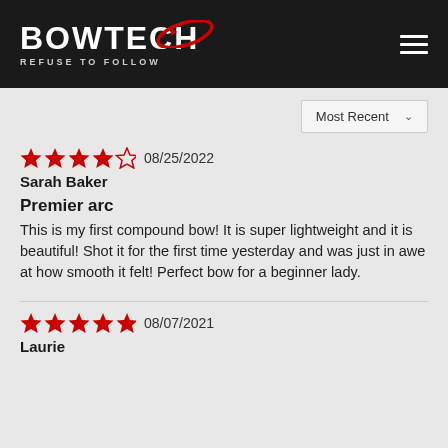[Figure (logo): Bowtech logo with red swoosh ellipse and tagline REFUSE TO FOLLOW on dark background]
Most Recent ∨
★★★★☆ 08/25/2022
Sarah Baker
Premier arc
This is my first compound bow! It is super lightweight and it is beautiful! Shot it for the first time yesterday and was just in awe at how smooth it felt! Perfect bow for a beginner lady.
★★★★★ 08/07/2021
Laurie